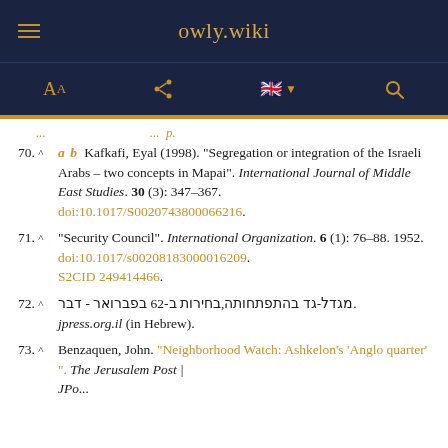owly.wiki
70. ^ a b Kafkafi, Eyal (1998). "Segregation or integration of the Israeli Arabs – two concepts in Mapai". International Journal of Middle East Studies. 30 (3): 347–367. doi:10.1017/S0020743800066216.
71. ^ "Security Council". International Organization. 6 (1): 76–88. 1952. doi:10.1017/s00208183000016209. S2CID 249414466.
72. ^ מגדל-גד בהתפתחותה,בחירות ב-26 בפברואר - דבר. jpress.org.il (in Hebrew).
73. ^ Benzaquen, John. "Neighborhood Watch: Ashkelon's 'Anglo quarter'". The Jerusalem Post | JPo...